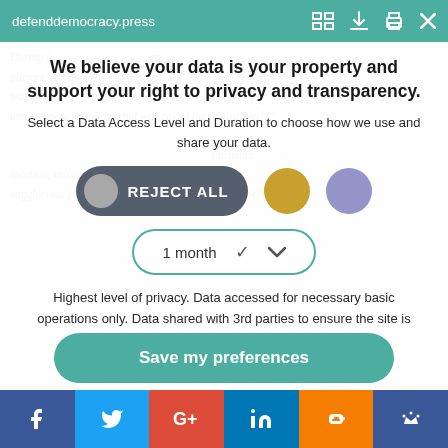defenddemocracy.press
We believe your data is your property and support your right to privacy and transparency.
Select a Data Access Level and Duration to choose how we use and share your data.
[Figure (infographic): Reject All button (dark pill with grey circle and white text), a gold circle button, and a purple circle button]
[Figure (infographic): Dropdown selector showing '1 month' with a down chevron, outlined in teal]
Highest level of privacy. Data accessed for necessary basic operations only. Data shared with 3rd parties to ensure the site is secure and works on your device
Save my preferences
f  Twitter  G+  in  Blogger  crown icon